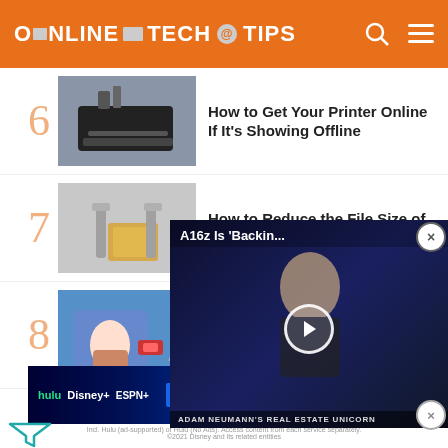ONLINE TECH TIPS
6 – How to Get Your Printer Online If It's Showing Offline
7 – How to Reduce the File Size of an Image or Picture
8 – 8 Best App... Free on A...
[Figure (screenshot): Video popup: A16z Is 'Backin...' with play button and man in background. Caption: ADAM NEUMANN'S REAL ESTATE UNICORN]
[Figure (logo): Filter/funnel icon in teal]
ADVERTISEMENT
[Figure (screenshot): Disney Bundle advertisement banner: hulu, Disney+, ESPN+ – GET THE DISNEY BUNDLE. Incl. Hulu (ad-supported) or Hulu (No Ads). Access content from each service separately. ©2021 Disney and its related entities]